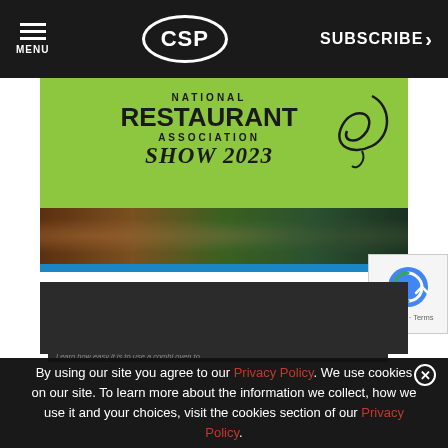MENU | CSP | SUBSCRIBE >
[Figure (advertisement): National Restaurant Association Show 2023 advertisement banner with green background, food photos, and blue LEARN MORE button]
[Figure (advertisement): Alto-Shaam webinar ad: Build a To-Go Experience with Appealing Displays]
[Figure (other): Google reCAPTCHA badge with Privacy and Terms links]
By using our site you agree to our Privacy Policy. We use cookies on our site. To learn more about the information we collect, how we use it and your choices, visit the cookies section of our Privacy Policy.